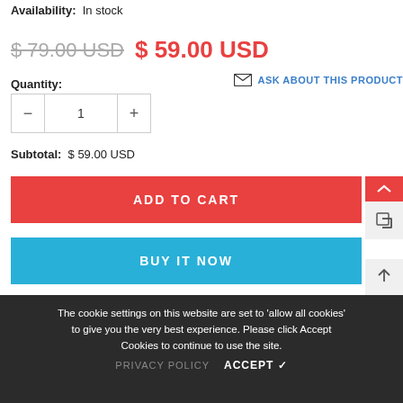Availability:  In stock
$ 79.00 USD  $ 59.00 USD
Quantity:
ASK ABOUT THIS PRODUCT
Subtotal: $ 59.00 USD
ADD TO CART
BUY IT NOW
The cookie settings on this website are set to 'allow all cookies' to give you the very best experience. Please click Accept Cookies to continue to use the site.
PRIVACY POLICY  ACCEPT ✓